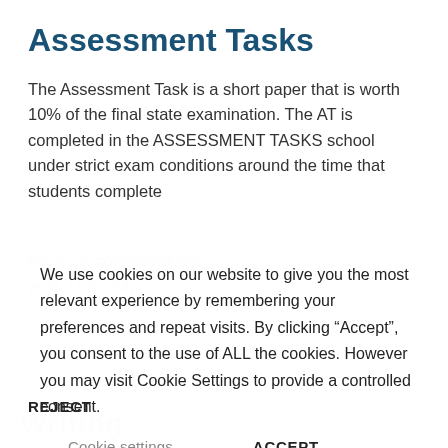Assessment Tasks
The Assessment Task is a short paper that is worth 10% of the final state examination. The AT is completed in the ASSESSMENT TASKS school under strict exam conditions around the time that students complete
We use cookies on our website to give you the most relevant experience by remembering your preferences and repeat visits. By clicking “Accept”, you consent to the use of ALL the cookies. However you may visit Cookie Settings to provide a controlled consent.
Cookie settings    ACCEPT
REJECT